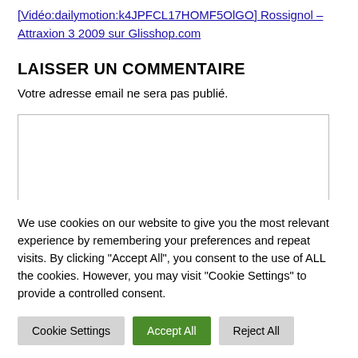[Vidéo:dailymotion:k4JPFCL17HOMF5OlGO] Rossignol – Attraxion 3 2009 sur Glisshop.com
LAISSER UN COMMENTAIRE
Votre adresse email ne sera pas publié.
[textarea input box]
We use cookies on our website to give you the most relevant experience by remembering your preferences and repeat visits. By clicking "Accept All", you consent to the use of ALL the cookies. However, you may visit "Cookie Settings" to provide a controlled consent.